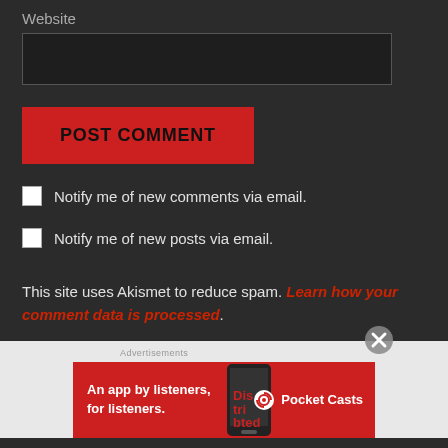Website
POST COMMENT
Notify me of new comments via email.
Notify me of new posts via email.
This site uses Akismet to reduce spam. Learn how your comment data is processed.
Advertisements
[Figure (infographic): Pocket Casts advertisement banner: 'An app by listeners, for listeners.' with phone image and Pocket Casts logo on red background]